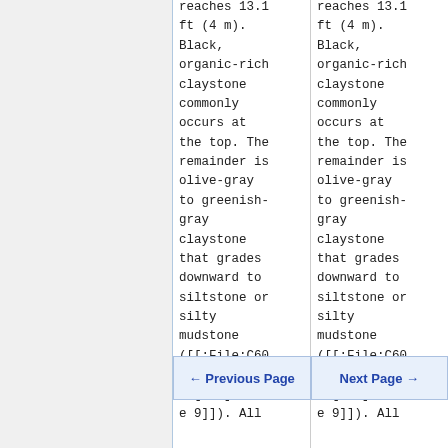reaches 13.1 ft (4 m). Black, organic-rich claystone commonly occurs at the top. The remainder is olive-gray to greenish-gray claystone that grades downward to siltstone or silty mudstone ([[: File:C605-[...] 09[...] e 9]]). All
reaches 13.1 ft (4 m). Black, organic-rich claystone commonly occurs at the top. The remainder is olive-gray to greenish-gray claystone that grades downward to siltstone or silty mudstone ([[: File:C605-[...] 09[...] e 9]]). All